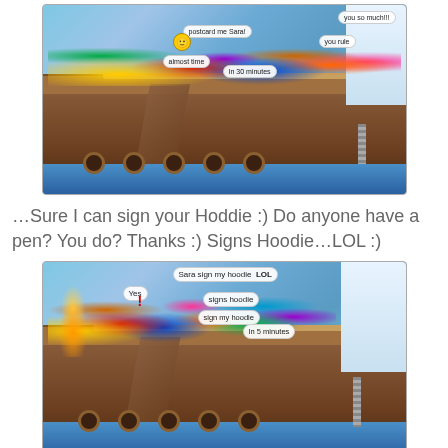[Figure (screenshot): Screenshot from Club Penguin game showing many penguin characters on a pirate ship deck with chat bubbles including 'postcard me Sara!', 'you rule', 'almost time', 'In 30 minutes']
…Sure I can sign your Hoddie :) Do anyone have a pen? You do? Thanks :) Signs Hoodie…LOL :)
[Figure (screenshot): Screenshot from Club Penguin game showing many penguin characters on a pirate ship deck with chat bubbles including 'Sara sign my hoodie LOL', 'Yes', 'signs hoodie', 'sign my hoodie', 'In 5 minutes']